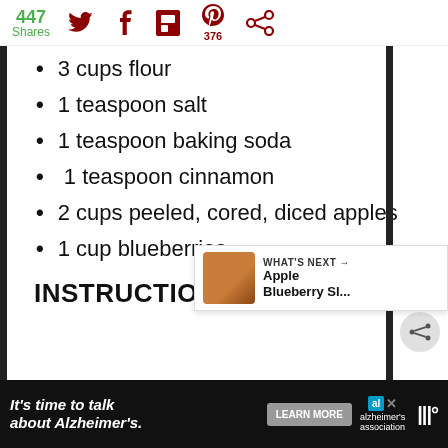447 Shares | Twitter | Facebook | Flipboard | Pinterest 376 | Other
3 cups flour
1 teaspoon salt
1 teaspoon baking soda
1 teaspoon cinnamon
2 cups peeled, cored, diced apples
1 cup blueberries
INSTRUCTIONS
WHAT'S NEXT → Apple Blueberry Sl...
It's time to talk about Alzheimer's. LEARN MORE